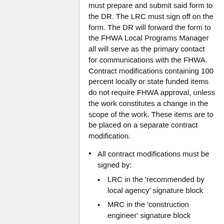must prepare and submit said form to the DR. The LRC must sign off on the form. The DR will forward the form to the FHWA Local Programs Manager all will serve as the primary contact for communications with the FHWA. Contract modifications containing 100 percent locally or state funded items do not require FHWA approval, unless the work constitutes a change in the scope of the work. These items are to be placed on a separate contract modification.
All contract modifications must be signed by:
LRC in the ‘recommended by local agency’ signature block
MRC in the ‘construction engineer’ signature block